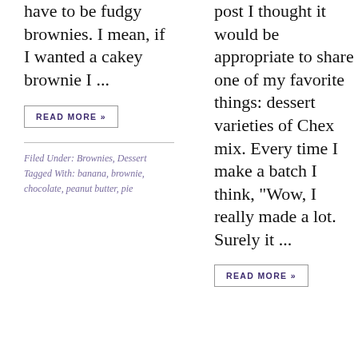have to be fudgy brownies. I mean, if I wanted a cakey brownie I ...
READ MORE »
Filed Under: Brownies, Dessert
Tagged With: banana, brownie, chocolate, peanut butter, pie
post I thought it would be appropriate to share one of my favorite things: dessert varieties of Chex mix. Every time I make a batch I think, "Wow, I really made a lot. Surely it ...
READ MORE »